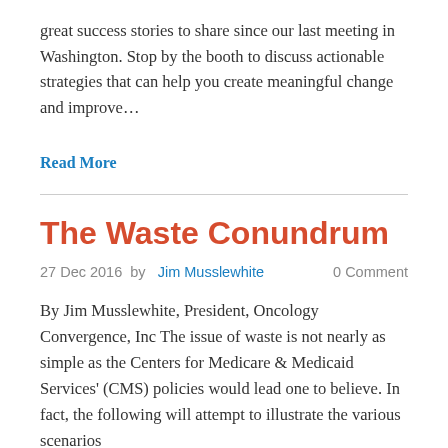great success stories to share since our last meeting in Washington. Stop by the booth to discuss actionable strategies that can help you create meaningful change and improve…
Read More
The Waste Conundrum
27 Dec 2016 by Jim Musslewhite   0 Comment
By Jim Musslewhite, President, Oncology Convergence, Inc The issue of waste is not nearly as simple as the Centers for Medicare & Medicaid Services' (CMS) policies would lead one to believe. In fact, the following will attempt to illustrate the various scenarios